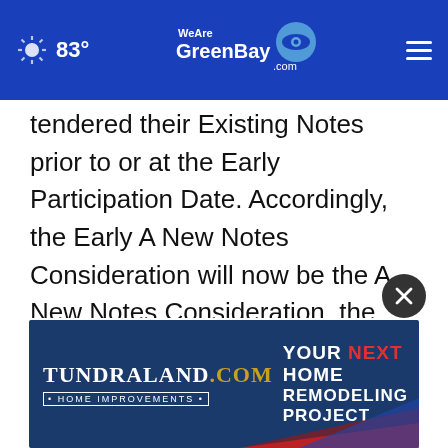83° WeAreGreenBay.com
tendered their Existing Notes prior to or at the Early Participation Date. Accordingly, the Early A New Notes Consideration will now be the A New Notes Consideration, the Early A Consideration will now be the A Consideration, the Early B Consideration will now be the B Consideration, and the Early Exchange Consideration will now be the Exchange Consideration. The revised terms of the Exchange Offer are summarized below:
[Figure (other): Tundraland Home Improvements advertisement banner: YOUR NEXT HOME REMODELING PROJECT]